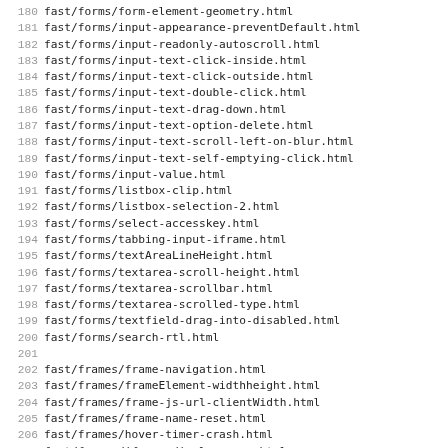180 fast/forms/form-element-geometry.html
181 fast/forms/input-appearance-preventDefault.html
182 fast/forms/input-readonly-autoscroll.html
183 fast/forms/input-text-click-inside.html
184 fast/forms/input-text-click-outside.html
185 fast/forms/input-text-double-click.html
186 fast/forms/input-text-drag-down.html
187 fast/forms/input-text-option-delete.html
188 fast/forms/input-text-scroll-left-on-blur.html
189 fast/forms/input-text-self-emptying-click.html
190 fast/forms/input-value.html
191 fast/forms/listbox-clip.html
192 fast/forms/listbox-selection-2.html
193 fast/forms/select-accesskey.html
194 fast/forms/tabbing-input-iframe.html
195 fast/forms/textAreaLineHeight.html
196 fast/forms/textarea-scroll-height.html
197 fast/forms/textarea-scrollbar.html
198 fast/forms/textarea-scrolled-type.html
199 fast/forms/textfield-drag-into-disabled.html
200 fast/forms/search-rtl.html
201
202 fast/frames/frame-navigation.html
203 fast/frames/frameElement-widthheight.html
204 fast/frames/frame-js-url-clientWidth.html
205 fast/frames/frame-name-reset.html
206 fast/frames/hover-timer-crash.html
207 fast/frames/iframe-display-none.html
208 fast/frames/iframe-window-focus.html
209 fast/frames/set-unloaded-frame-location.html
210
211 fast/html/keygen.html